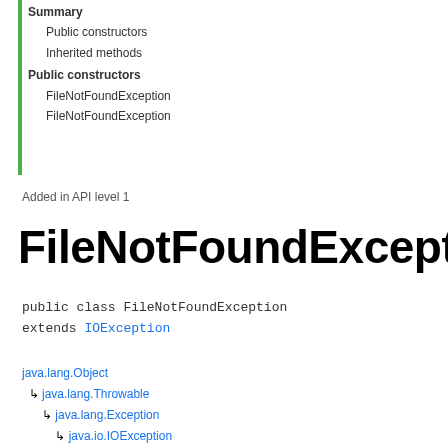Summary
Public constructors
Inherited methods
Public constructors
FileNotFoundException
FileNotFoundException
Added in API level 1
FileNotFoundException
public class FileNotFoundException
extends IOException
java.lang.Object
  ↳ java.lang.Throwable
      ↳ java.lang.Exception
          ↳ java.io.IOException
              ↳ java.io.FileNotFoundException